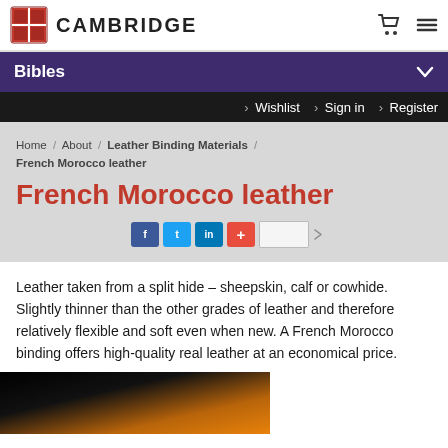CAMBRIDGE
Bibles
Wishlist  Sign in  Register
Home / About / Leather Binding Materials / French Morocco leather
French Morocco leather
Leather taken from a split hide – sheepskin, calf or cowhide. Slightly thinner than the other grades of leather and therefore relatively flexible and soft even when new. A French Morocco binding offers high-quality real leather at an economical price.
[Figure (photo): Photo of French Morocco leather binding, showing a dark to orange-brown gradient]